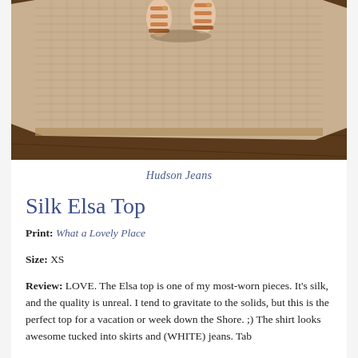[Figure (photo): Overhead/partial view of a person wearing sandals standing on a woven beige jute rug over dark hardwood floor]
Hudson Jeans
Silk Elsa Top
Print: What a Lovely Place
Size: XS
Review: LOVE. The Elsa top is one of my most-worn pieces. It's silk, and the quality is unreal. I tend to gravitate to the solids, but this is the perfect top for a vacation or week down the Shore. ;) The shirt looks awesome tucked into skirts and (WHITE) jeans. Tab...